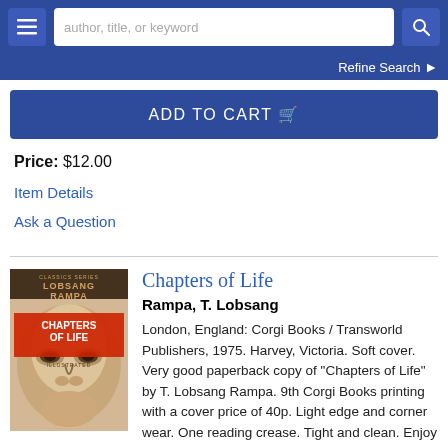author, title, or keyword
Refine Search
ADD TO CART
Price: $12.00
Item Details
Ask a Question
[Figure (photo): Book cover of 'Chapters of Life' by Lobsang Rampa, showing a close-up of a man's face, illustrated style, with title text in red and author name in brown.]
Chapters of Life
Rampa, T. Lobsang
London, England: Corgi Books / Transworld Publishers, 1975. Harvey, Victoria. Soft cover. Very good paperback copy of "Chapters of Life" by T. Lobsang Rampa. 9th Corgi Books printing with a cover price of 40p. Light edge and corner wear. One reading crease. Tight and clean. Enjoy Lobsang